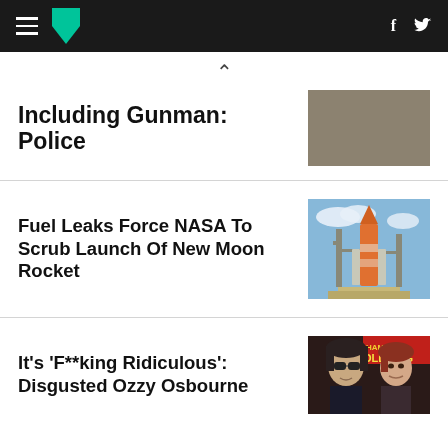HuffPost navigation header with hamburger menu, logo, Facebook and Twitter icons
Including Gunman: Police
Fuel Leaks Force NASA To Scrub Launch Of New Moon Rocket
It's 'F**king Ridiculous': Disgusted Ozzy Osbourne